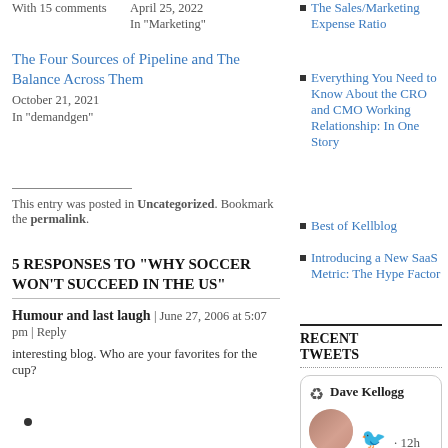With 15 comments
April 25, 2022
In "Marketing"
The Four Sources of Pipeline and The Balance Across Them
October 21, 2021
In "demandgen"
This entry was posted in Uncategorized. Bookmark the permalink.
5 RESPONSES TO "WHY SOCCER WON'T SUCCEED IN THE US"
Humour and last laugh | June 27, 2006 at 5:07 pm | Reply
interesting blog. Who are your favorites for the cup?
The Sales/Marketing Expense Ratio
Everything You Need to Know About the CRO and CMO Working Relationship: In One Story
Best of Kellblog
Introducing a New SaaS Metric: The Hype Factor
RECENT TWEETS
[Figure (screenshot): Tweet box with retweet icon, Dave Kellogg name, Twitter bird icon, and 12h timestamp with avatar photo]